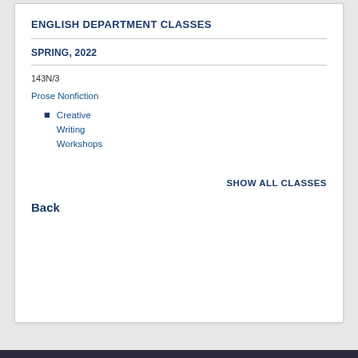ENGLISH DEPARTMENT CLASSES
SPRING, 2022
143N/3
Prose Nonfiction
Creative Writing Workshops
SHOW ALL CLASSES
Back